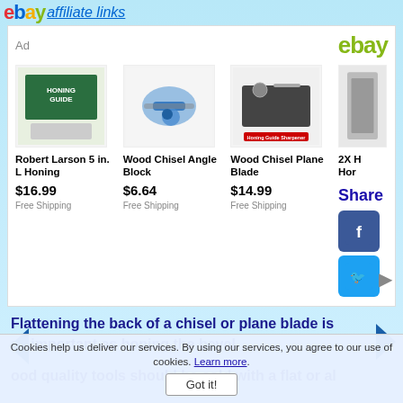ebay affiliate links
[Figure (screenshot): eBay affiliate ad panel showing 4 products: Robert Larson 5 in. L Honing $16.99 Free Shipping, Wood Chisel Angle Block $6.64 Free Shipping, Wood Chisel Plane Blade $14.99 Free Shipping, 2X Hor... with Share button and Facebook/Twitter icons]
Flattening the Back.
Flattening the back of a chisel or plane blade is as important as honing the bevel.
ood quality tools should be sold with a flat or al...
Cookies help us deliver our services. By using our services, you agree to our use of cookies. Learn more.
Got it!